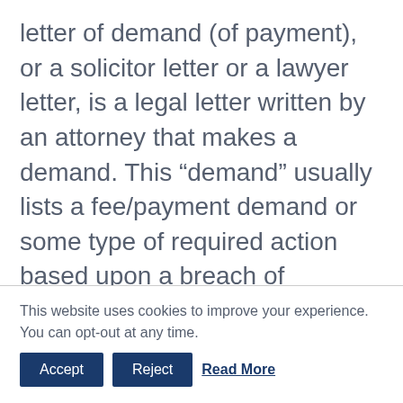letter of demand (of payment), or a solicitor letter or a lawyer letter, is a legal letter written by an attorney that makes a demand. This “demand” usually lists a fee/payment demand or some type of required action based upon a breach of contract, a legal deficiency or legal wrong.  Don’t ignore them! Demand letters that are not responded to may constitute admissions by silence.  The first thing that we recommend doing is calling your lawyer. They can help you qualify the demand letter, determine a response, and
This website uses cookies to improve your experience. You can opt-out at any time. Accept Reject Read More